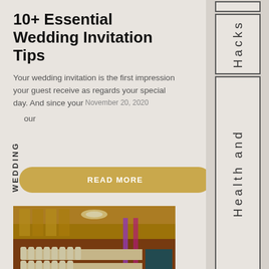10+ Essential Wedding Invitation Tips
Your wedding invitation is the first impression your guest receive as regards your special day. And since your
November 20, 2020
WEDDING
READ MORE
[Figure (photo): Wedding/banquet hall with golden decor, long tables with white chair covers and golden sashes, chandelier, red carpet floor, purple accent lighting in background]
Hacks
Health and